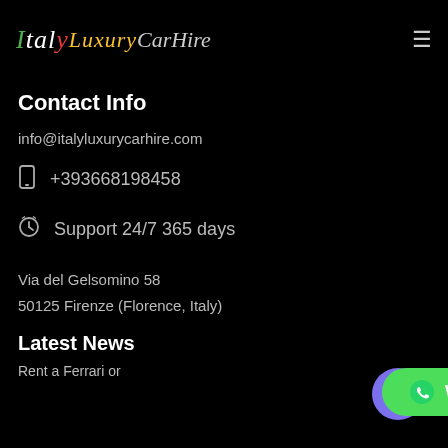Italy Luxury Car Hire (logo) ≡
Contact Info
info@italyluxurycarhire.com
+393668198458
Support 24/7 365 days
Via del Gelsomino 58
50125 Firenze (Florence, Italy)
Latest News
Rent a Ferrari or...
[Figure (other): WhatsApp Live Support green button overlay at bottom of page]